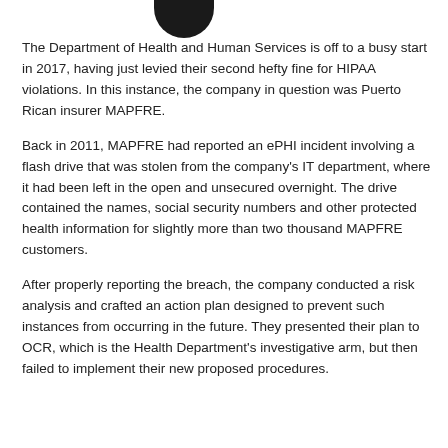[Figure (photo): Partial photo visible at top of page, showing a dark object against a light background (cropped).]
The Department of Health and Human Services is off to a busy start in 2017, having just levied their second hefty fine for HIPAA violations. In this instance, the company in question was Puerto Rican insurer MAPFRE.
Back in 2011, MAPFRE had reported an ePHI incident involving a flash drive that was stolen from the company's IT department, where it had been left in the open and unsecured overnight. The drive contained the names, social security numbers and other protected health information for slightly more than two thousand MAPFRE customers.
After properly reporting the breach, the company conducted a risk analysis and crafted an action plan designed to prevent such instances from occurring in the future. They presented their plan to OCR, which is the Health Department's investigative arm, but then failed to implement their new proposed procedures.